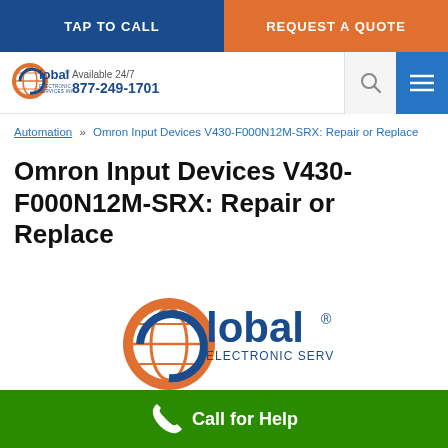TAP TO CALL | REQUEST A QUOTE
[Figure (logo): Global Electronic Services Inc. logo with orange globe and blue text in header]
Available 24/7
877-249-1701
Automation » Omron Input Devices V430-F000N12M-SRX: Repair or Replace
Omron Input Devices V430-F000N12M-SRX: Repair or Replace
[Figure (logo): Global Electronic Services Inc. large logo with orange globe and blue text, ELECTRONIC SERVICES INC. subtitle]
Call for Help